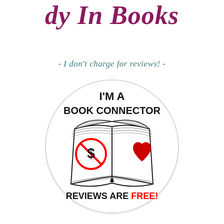dy In Books
- I don't charge for reviews! -
[Figure (illustration): A circular badge reading 'I'M A BOOK CONNECTOR' with an open book illustration. The left page has a no-money sign (dollar sign with a red circle and line through it) and the right page has a red heart. Below the book the text reads 'REVIEWS ARE FREE!' with FREE in red.]